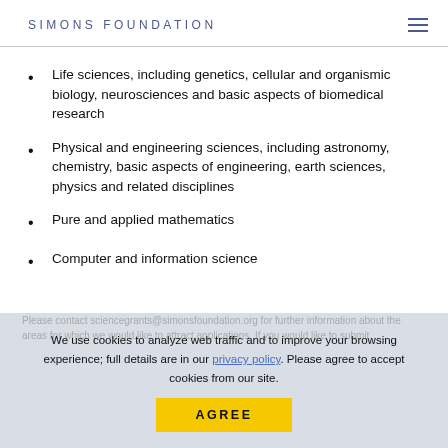SIMONS FOUNDATION
Life sciences, including genetics, cellular and organismic biology, neurosciences and basic aspects of biomedical research
Physical and engineering sciences, including astronomy, chemistry, basic aspects of engineering, earth sciences, physics and related disciplines
Pure and applied mathematics
Computer and information science
Please contact sciencegrants@simonsfoundation.org for further information about the areas for which we would like to attract...
We use cookies to analyze web traffic and to improve your browsing experience; full details are in our privacy policy. Please agree to accept cookies from our site.